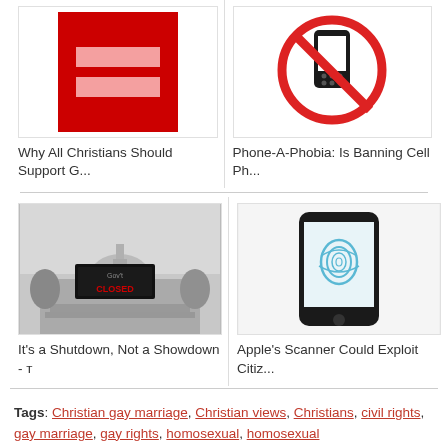[Figure (illustration): Red square with two pink horizontal stripes — Human Rights Campaign logo style]
[Figure (illustration): No cell phone sign — cell phone with red circle and diagonal line]
Why All Christians Should Support G...
Phone-A-Phobia: Is Banning Cell Ph...
[Figure (photo): US Capitol building with a Government Closed sign]
[Figure (illustration): Smartphone with a fingerprint/thumbprint scan on screen]
It's a Shutdown, Not a Showdown - т
Apple's Scanner Could Exploit Citiz...
Tags: Christian gay marriage, Christian views, Christians, civil rights, gay marriage, gay rights, homosexual, homosexual